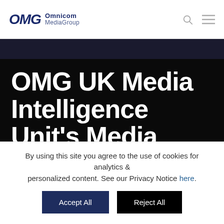OMG Omnicom MediaGroup
[Figure (screenshot): Dark hero image with large white bold text reading: OMG UK Media Intelligence Unit's Media Theme-onomics: Accelerate – The (cut off)]
OMG UK Media Intelligence Unit's Media Theme-onomics: Accelerate – The
By using this site you agree to the use of cookies for analytics & personalized content. See our Privacy Notice here.
Accept All   Reject All